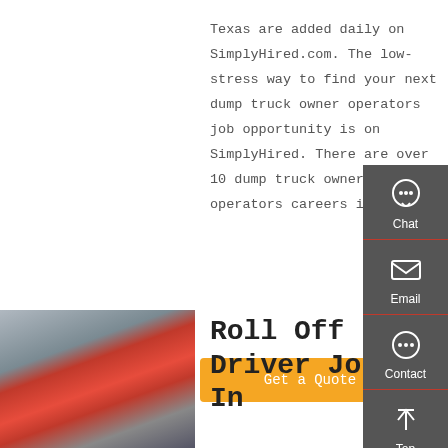Texas are added daily on SimplyHired.com. The low-stress way to find your next dump truck owner operators job opportunity is on SimplyHired. There are over 10 dump truck owner operators careers in Texas …
Get a Quote
[Figure (photo): Red trucks parked in a row, industrial/transport setting]
Roll Off Driver Jobs In